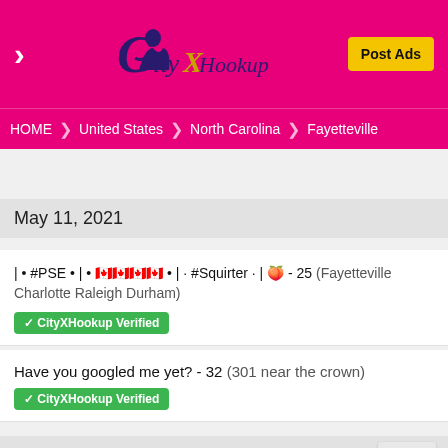CityXHookup - Post Ads
HOME > United States > North Carolina > Fayetteville
May 11, 2021
| • #PSE • | • 🇨🇦🇨🇦🇨🇦🇨🇦 • | · #Squirter · | 🍑 - 25 (Fayetteville Charlotte Raleigh Durham) ✔ CityXHookup Verified
Have you googled me yet? - 32 (301 near the crown) ✔ CityXHookup Verified
May 10, 2021